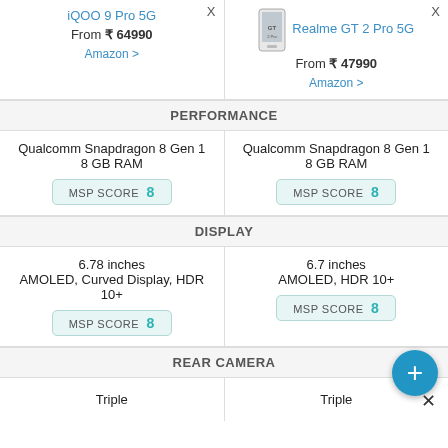| iQOO 9 Pro 5G | Realme GT 2 Pro 5G |
| --- | --- |
| From ₹ 64990
Amazon > | From ₹ 47990
Amazon > |
| PERFORMANCE | PERFORMANCE |
| Qualcomm Snapdragon 8 Gen 1
8 GB RAM
MSP SCORE 8 | Qualcomm Snapdragon 8 Gen 1
8 GB RAM
MSP SCORE 8 |
| DISPLAY | DISPLAY |
| 6.78 inches
AMOLED, Curved Display, HDR 10+
MSP SCORE 8 | 6.7 inches
AMOLED, HDR 10+
MSP SCORE 8 |
| REAR CAMERA | REAR CAMERA |
| Triple | Triple |